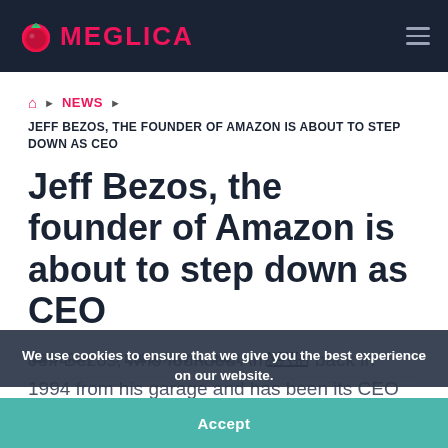MEGLICA
JEFF BEZOS, THE FOUNDER OF AMAZON IS ABOUT TO STEP DOWN AS CEO
Jeff Bezos, the founder of Amazon is about to step down as CEO
MEGLICA / FEBRUARY 4, 2021 / NEWS
We use cookies to ensure that we give you the best experience on our website.
Jeff Bezos, who founded Amazon back in 1994 from his garage and has been its CEO since then has now planned to step down as its CEO.
Accept